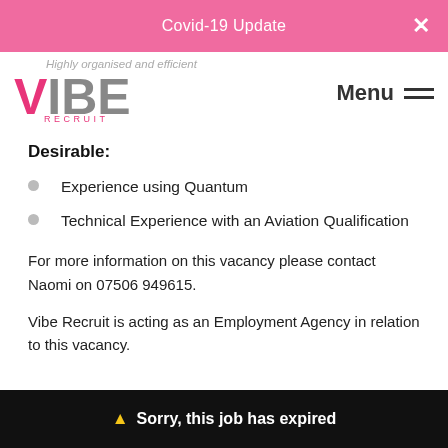Covid-19 Update
[Figure (logo): Vibe Recruit logo with pink V and grey IBE, RECRUIT text below, tagline 'Highly organised and efficient' partially visible]
Desirable:
Experience using Quantum
Technical Experience with an Aviation Qualification
For more information on this vacancy please contact Naomi on 07506 949615.
Vibe Recruit is acting as an Employment Agency in relation to this vacancy.
⚠ Sorry, this job has expired